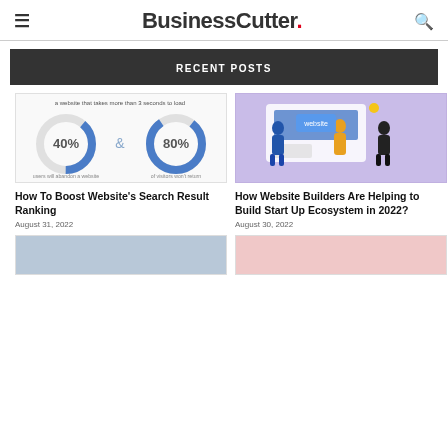BusinessCutter.
RECENT POSTS
[Figure (infographic): Donut chart infographic: 40% users will abandon a website that takes more than 3 seconds to load, and 80% of visitors won't return]
How To Boost Website's Search Result Ranking
August 31, 2022
[Figure (illustration): Illustration of people building a website on purple background]
How Website Builders Are Helping to Build Start Up Ecosystem in 2022?
August 30, 2022
[Figure (photo): Photo thumbnail bottom left]
[Figure (photo): Floral photo thumbnail bottom right]